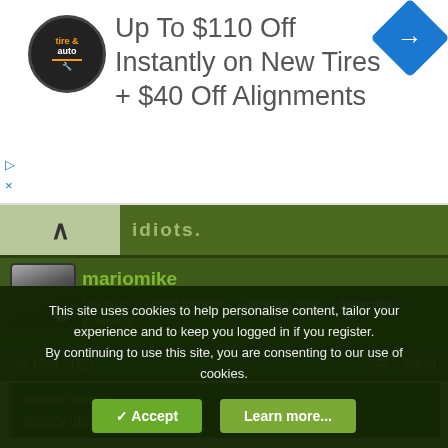[Figure (infographic): Advertisement banner: tire and auto logo circle, text 'Up To $110 Off Instantly on New Tires + $40 Off Alignments', blue diamond arrow icon]
idiots.
mariomike
Moderator  Staff member  Directing Staff  Subscriber  Mentor
26 Feb 2021  #300
brihard said: Bloody idiots.
Reminded me of an old pre-camera-phone TV show where citizens complained they heard two officers crack about an
This site uses cookies to help personalise content, tailor your experience and to keep you logged in if you register.
By continuing to use this site, you are consenting to our use of cookies.
✓ Accept   Learn more...